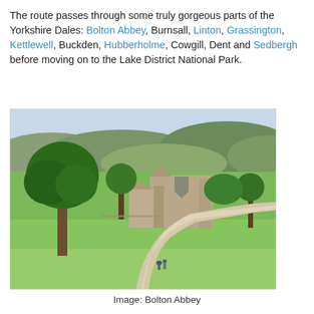The route passes through some truly gorgeous parts of the Yorkshire Dales: Bolton Abbey, Burnsall, Linton, Grassington, Kettlewell, Buckden, Hubberholme, Cowgill, Dent and Sedbergh before moving on to the Lake District National Park.
[Figure (photo): Landscape photograph of Bolton Abbey ruins surrounded by green parkland with trees, a winding path with two walkers, and rolling green hills in the background under a light sky.]
Image: Bolton Abbey